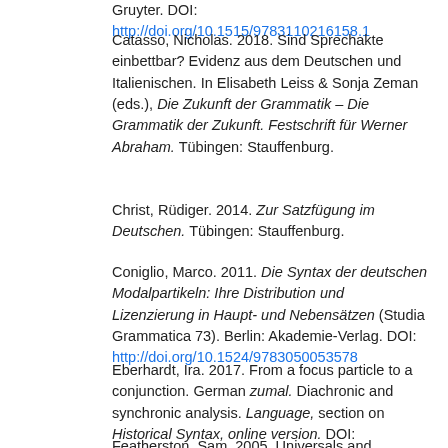Gruyter. DOI: http://doi.org/10.1515/9783110216158.1
Catasso, Nicholas. 2018. Sind Sprechakte einbettbar? Evidenz aus dem Deutschen und Italienischen. In Elisabeth Leiss & Sonja Zeman (eds.), Die Zukunft der Grammatik – Die Grammatik der Zukunft. Festschrift für Werner Abraham. Tübingen: Stauffenburg.
Christ, Rüdiger. 2014. Zur Satzfügung im Deutschen. Tübingen: Stauffenburg.
Coniglio, Marco. 2011. Die Syntax der deutschen Modalpartikeln: Ihre Distribution und Lizenzierung in Haupt- und Nebensätzen (Studia Grammatica 73). Berlin: Akademie-Verlag. DOI: http://doi.org/10.1524/9783050053578
Eberhardt, Ira. 2017. From a focus particle to a conjunction. German zumal. Diachronic and synchronic analysis. Language, section on Historical Syntax, online version. DOI: http://doi.org/10.1353/lan.2017.0031
Featherston, Sam. 2005. Universals and grammaticality: